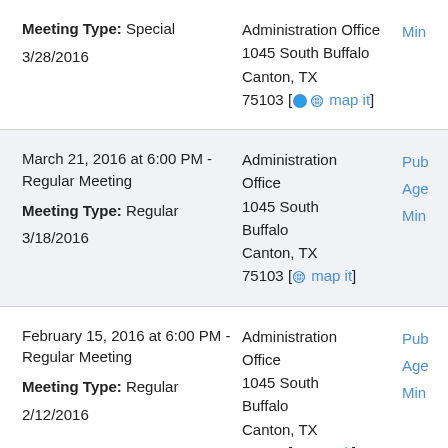| Meeting Info | Location | Documents |
| --- | --- | --- |
| Meeting Type: Special
3/28/2016 | Administration Office
1045 South Buffalo
Canton, TX 75103 [map it] | Min |
| March 21, 2016 at 6:00 PM - Regular Meeting
Meeting Type: Regular
3/18/2016 | Administration Office
1045 South Buffalo
Canton, TX 75103 [map it] | Pub
Age
Min |
| February 15, 2016 at 6:00 PM - Regular Meeting
Meeting Type: Regular
2/12/2016 | Administration Office
1045 South Buffalo
Canton, TX 75103 [map it] | Pub
Age
Min |